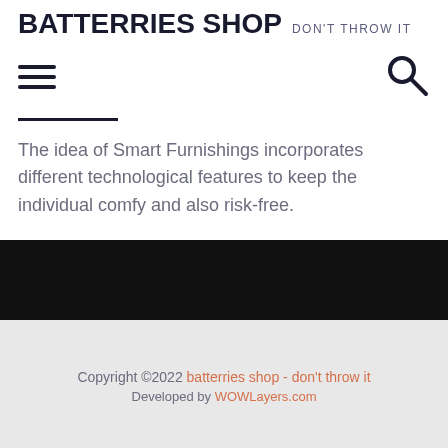BATTERRIES SHOP DON'T THROW IT
[Figure (other): Hamburger menu icon (three horizontal lines) on the left and a search (magnifying glass) icon on the right, serving as navigation controls.]
The idea of Smart Furnishings incorporates different technological features to keep the individual comfy and also risk-free.
Copyright ©2022 batterries shop - don't throw it
Developed by WOWLayers.com